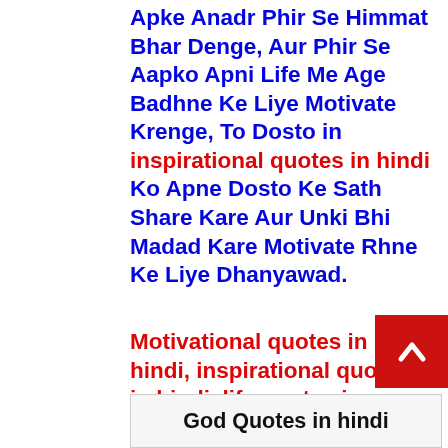Apke Anadr Phir Se Himmat Bhar Denge, Aur Phir Se Aapko Apni Life Me Age Badhne Ke Liye Motivate Krenge, To Dosto in inspirational quotes in hindi Ko Apne Dosto Ke Sath Share Kare Aur Unki Bhi Madad Kare Motivate Rhne Ke Liye Dhanyawad.
Motivational quotes in hindi, inspirational quotes in hindi, life quotes in hindi, motivational status in hindi, motivation in hindi
God Quotes in hindi